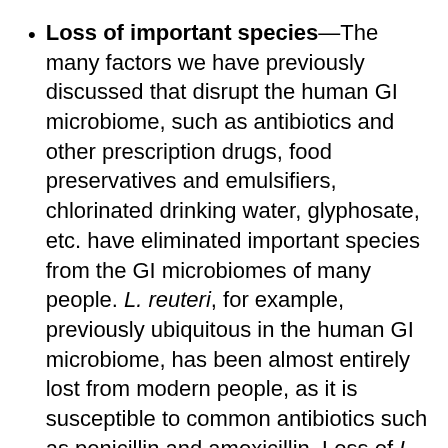Loss of important species—The many factors we have previously discussed that disrupt the human GI microbiome, such as antibiotics and other prescription drugs, food preservatives and emulsifiers, chlorinated drinking water, glyphosate, etc. have eliminated important species from the GI microbiomes of many people. L. reuteri, for example, previously ubiquitous in the human GI microbiome, has been almost entirely lost from modern people, as it is susceptible to common antibiotics such as penicillin and amoxicillin. Loss of L. reuteri means that you are bound to to each one of the...